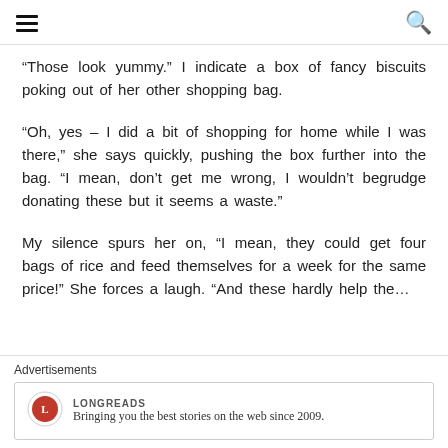navigation header with hamburger menu and search icon
“Those look yummy.” I indicate a box of fancy biscuits poking out of her other shopping bag.
“Oh, yes – I did a bit of shopping for home while I was there,” she says quickly, pushing the box further into the bag. “I mean, don’t get me wrong, I wouldn’t begrudge donating these but it seems a waste.”
My silence spurs her on, “I mean, they could get four bags of rice and feed themselves for a week for the same price!” She forces a laugh. “And these hardly help the…
Advertisements
Bringing you the best stories on the web since 2009.